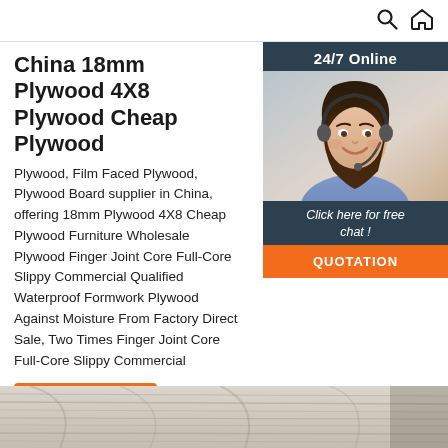🔍 🏠
China 18mm Plywood 4X8 Plywood Cheap Plywood
Plywood, Film Faced Plywood, Plywood Board supplier in China, offering 18mm Plywood 4X8 Cheap Plywood Furniture Wholesale Plywood Finger Joint Core Full-Core Slippy Commercial Qualified Waterproof Formwork Plywood Against Moisture From Factory Direct Sale, Two Times Finger Joint Core Full-Core Slippy Commercial
[Figure (photo): Customer service representative woman with headset smiling, with 24/7 Online chat widget overlay showing 'Click here for free chat!' and 'QUOTATION' button]
Get Price
[Figure (other): TOP button with orange dot triangle logo and 'TOP' text in orange]
[Figure (photo): Bottom strip showing light wood grain plywood surface texture]